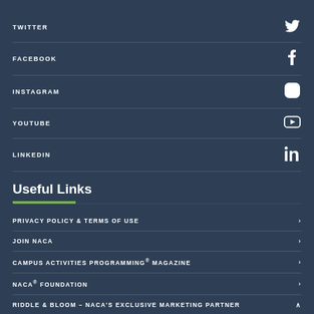TWITTER
FACEBOOK
INSTAGRAM
YOUTUBE
LINKEDIN
Useful Links
PRIVACY POLICY & TERMS OF USE
JOIN NACA
CAMPUS ACTIVITIES PROGRAMMING® MAGAZINE
NACA® FOUNDATION
RIDDLE & BLOOM – NACA'S EXCLUSIVE MARKETING PARTNER